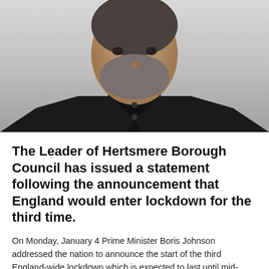[Figure (photo): A man with grey beard wearing a black blazer and black shirt, photographed from the chest up against a light grey background.]
The Leader of Hertsmere Borough Council has issued a statement following the announcement that England would enter lockdown for the third time.
On Monday, January 4 Prime Minister Boris Johnson addressed the nation to announce the start of the third England-wide lockdown which is expected to last until mid-February at least.